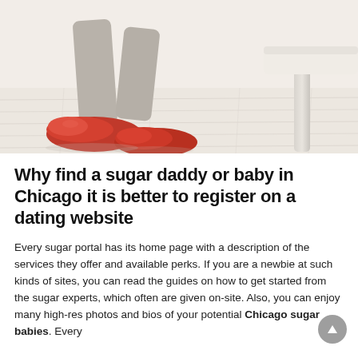[Figure (photo): Photo of a person's legs in taupe/beige trousers wearing red loafer shoes, seated near a white chair, on a light wood floor background.]
Why find a sugar daddy or baby in Chicago it is better to register on a dating website
Every sugar portal has its home page with a description of the services they offer and available perks. If you are a newbie at such kinds of sites, you can read the guides on how to get started from the sugar experts, which often are given on-site. Also, you can enjoy many high-res photos and bios of your potential Chicago sugar babies. Every